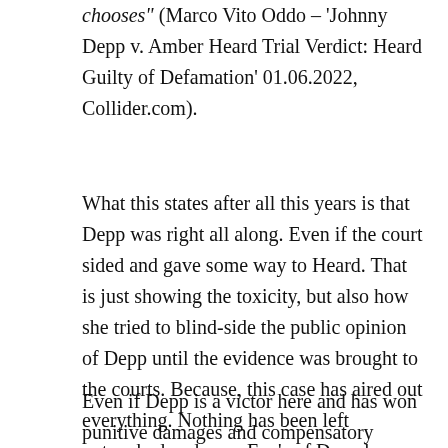chooses" (Marco Vito Oddo – 'Johnny Depp v. Amber Heard Trial Verdict: Heard Guilty of Defamation' 01.06.2022, Collider.com).
What this states after all this years is that Depp was right all along. Even if the court sided and gave some way to Heard. That is just showing the toxicity, but also how she tried to blind-side the public opinion of Depp until the evidence was brought to the courts. Because, this case has aired out everything. Nothing has been left untouched and even Exe's of Depp has showed him support during the trial. That's why you know this has run deep and the private life of him and her has been exposed.
Even if Depp is a victor here and has won punitive damages and compensatory damages of a total of $15